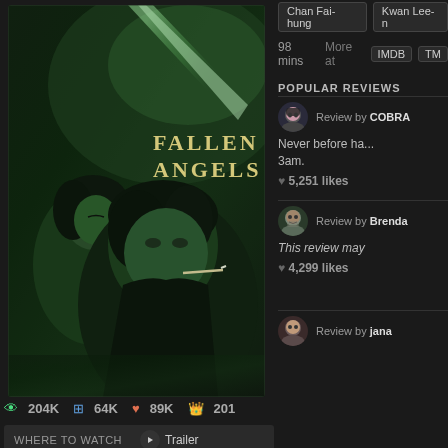[Figure (photo): Movie poster for 'Fallen Angels' (1995) directed by Wong Kar-wai. Shows two figures with green tinted lighting, text 'FALLEN ANGELS' in top right.]
204K  64K  89K  201
WHERE TO WATCH   Trailer
Chan Fai-hung   Kwan Lee-n
98 mins   More at  IMDB   TM
POPULAR REVIEWS
Review by COBRA
Never before ha... 3am.
5,251 likes
Review by Brenda
This review may
4,299 likes
Review by jana